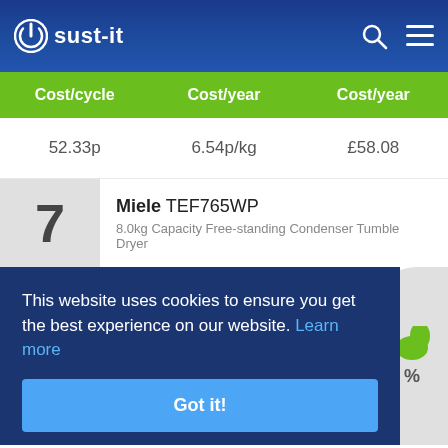sust-it
| Cost/cycle | Cost/year | Cost/year |
| --- | --- | --- |
| 52.33p | 6.54p/kg | £58.08 |
7 Miele TEF765WP 8.0kg Capacity Free-standing Condenser Tumble Dryer
This website uses cookies to ensure you get the best experience on our website. Learn more
Got it!